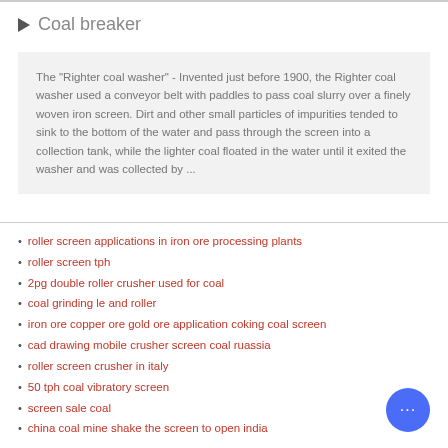Coal breaker
The "Righter coal washer" - Invented just before 1900, the Righter coal washer used a conveyor belt with paddles to pass coal slurry over a finely woven iron screen. Dirt and other small particles of impurities tended to sink to the bottom of the water and pass through the screen into a collection tank, while the lighter coal floated in the water until it exited the washer and was collected by ...
roller screen applications in iron ore processing plants
roller screen tph
2pg double roller crusher used for coal
coal grinding le and roller
iron ore copper ore gold ore application coking coal screen
cad drawing mobile crusher screen coal ruassia
roller screen crusher in italy
50 tph coal vibratory screen
screen sale coal
china coal mine shake the screen to open india